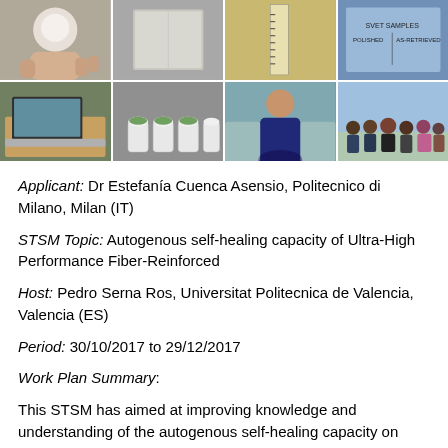[Figure (photo): A 2x4 grid of research photos showing laboratory specimens, equipment, jars, a researcher working, and a group photo outdoors.]
Applicant: Dr Estefanía Cuenca Asensio, Politecnico di Milano, Milan (IT)
STSM Topic: Autogenous self-healing capacity of Ultra-High Performance Fiber-Reinforced
Host: Pedro Serna Ros, Universitat Politecnica de Valencia, Valencia (ES)
Period: 30/10/2017 to 29/12/2017
Work Plan Summary:
This STSM has aimed at improving knowledge and understanding of the autogenous self-healing capacity on Ultra-High Performance Concretes (UHPC). Specifically,